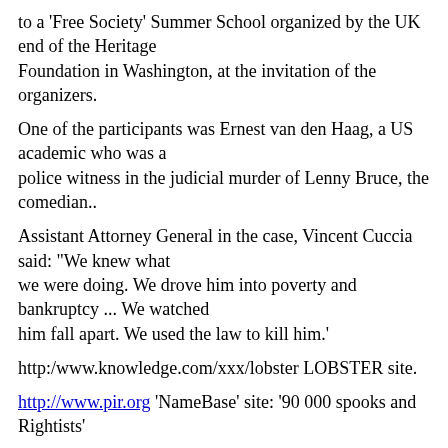to a 'Free Society' Summer School organized by the UK end of the Heritage Foundation in Washington, at the invitation of the organizers.
One of the participants was Ernest van den Haag, a US academic who was a police witness in the judicial murder of Lenny Bruce, the comedian..
Assistant Attorney General in the case, Vincent Cuccia said: "We knew what we were doing. We drove him into poverty and bankruptcy ... We watched him fall apart. We used the law to kill him.'
http:/www.knowledge.com/xxx/lobster LOBSTER site.
http://www.pir.org 'NameBase' site: '90 000 spooks and Rightists'
------------------- * * * * * ---------------
Then we started the Libertarian Alliance, to further our own ideas.
Hey, ho!
So we were upsetting lots of people, you see;